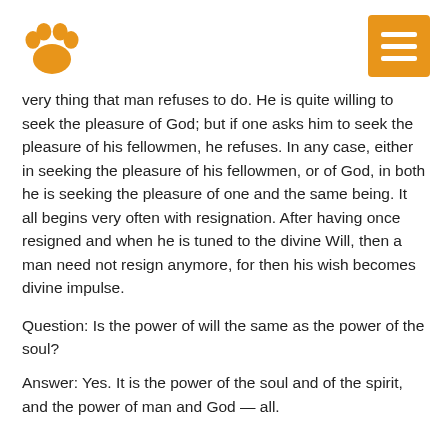[Figure (logo): Orange paw print logo in top left corner]
[Figure (other): Orange square menu button with three white horizontal bars (hamburger icon) in top right corner]
very thing that man refuses to do. He is quite willing to seek the pleasure of God; but if one asks him to seek the pleasure of his fellowmen, he refuses. In any case, either in seeking the pleasure of his fellowmen, or of God, in both he is seeking the pleasure of one and the same being. It all begins very often with resignation. After having once resigned and when he is tuned to the divine Will, then a man need not resign anymore, for then his wish becomes divine impulse.
Question: Is the power of will the same as the power of the soul?
Answer: Yes. It is the power of the soul and of the spirit, and the power of man and God — all.